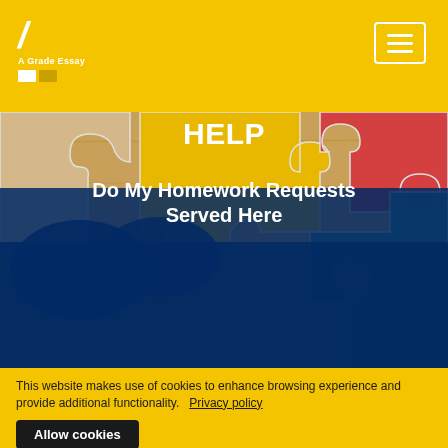A Grade Essay — navigation header with logo and hamburger menu
[Figure (photo): Colorful interlocking puzzle pieces (yellow, red, blue, teal, beige) on a wooden surface, photographed from above. A dark blue semi-transparent overlay covers the lower portion of the image.]
COLLEGE HOMEWORK HELP
Do My Homework Requests Served Here
This website makes use of cookies to enhance browsing experience and provide additional functionality.  Privacy policy
Allow cookies